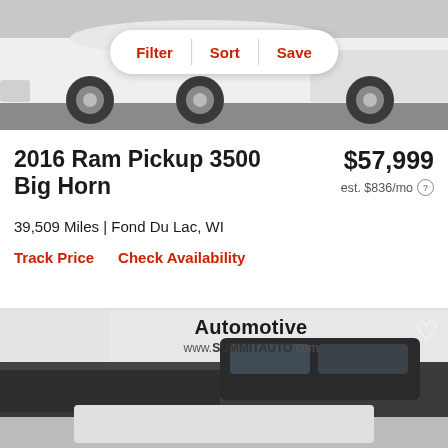[Figure (photo): White Ram pickup truck side view in a dealership showroom with gray floor]
Filter | Sort | Save
2016 Ram Pickup 3500 Big Horn
$57,999
est. $836/mo
39,509 Miles | Fond Du Lac, WI
Track Price   Check Availability
[Figure (photo): Dark-colored Ram pickup truck at Summit Automotive dealership, www.SUMMITAUTO.com visible in background]